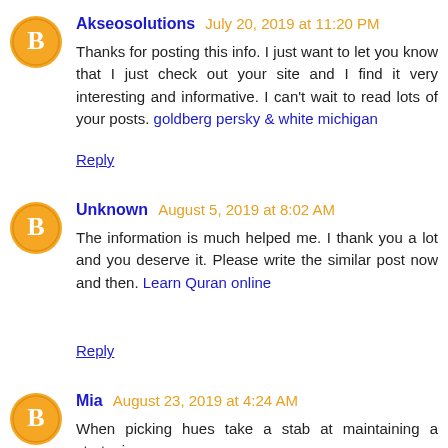Akseosolutions July 20, 2019 at 11:20 PM
Thanks for posting this info. I just want to let you know that I just check out your site and I find it very interesting and informative. I can't wait to read lots of your posts. goldberg persky & white michigan
Reply
Unknown August 5, 2019 at 8:02 AM
The information is much helped me. I thank you a lot and you deserve it. Please write the similar post now and then. Learn Quran online
Reply
Mia August 23, 2019 at 4:24 AM
When picking hues take a stab at maintaining a strategic